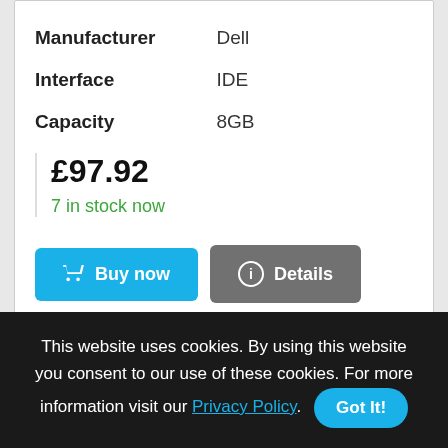| Manufacturer | Dell |
| Interface | IDE |
| Capacity | 8GB |
£97.92
7 in stock now
Buy now
Details
[Figure (other): Partial pie/donut chart graphic visible at top of second card]
This website uses cookies. By using this website you consent to our use of these cookies. For more information visit our Privacy Policy. Got It!